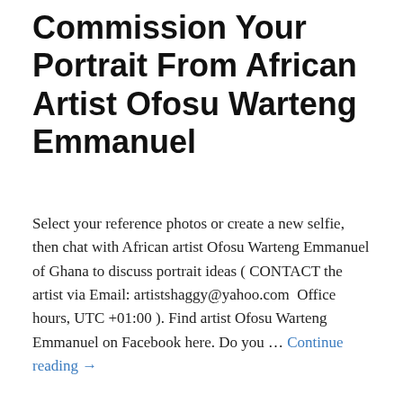Commission Your Portrait From African Artist Ofosu Warteng Emmanuel
Select your reference photos or create a new selfie, then chat with African artist Ofosu Warteng Emmanuel of Ghana to discuss portrait ideas ( CONTACT the artist via Email: artistshaggy@yahoo.com  Office hours, UTC +01:00 ). Find artist Ofosu Warteng Emmanuel on Facebook here. Do you … Continue reading →
December 16, 2015
1 Reply
[Figure (photo): Photograph of colorful paintings/artwork, partially visible at the bottom of the page]